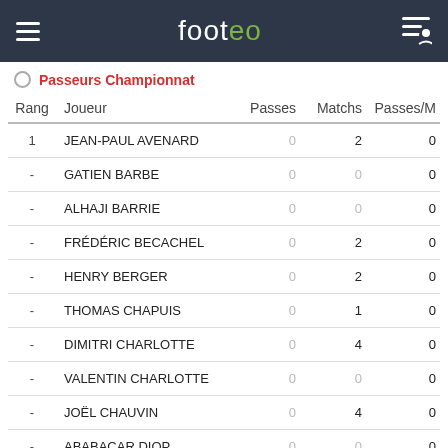footeo
Passeurs Championnat
| Rang | Joueur | Passes | Matchs | Passes/M |
| --- | --- | --- | --- | --- |
| 1 | JEAN-PAUL AVENARD | 0 | 2 | 0 |
| - | GATIEN BARBE | 0 | 0 | 0 |
| - | ALHAJI BARRIE | 0 | 0 | 0 |
| - | FRÉDÉRIC BECACHEL | 0 | 2 | 0 |
| - | HENRY BERGER | 0 | 2 | 0 |
| - | THOMAS CHAPUIS | 0 | 1 | 0 |
| - | DIMITRI CHARLOTTE | 0 | 4 | 0 |
| - | VALENTIN CHARLOTTE | 0 | 0 | 0 |
| - | JOËL CHAUVIN | 0 | 4 | 0 |
| - | ABABACAR DIOP | 0 | 0 | 0 |